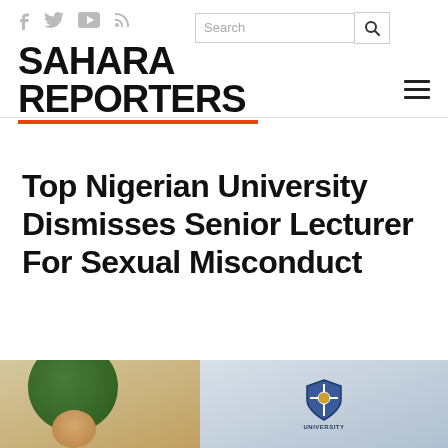SAHARA REPORTERS
Top Nigerian University Dismisses Senior Lecturer For Sexual Misconduct
[Figure (photo): Two-part image: left side shows a person wearing a green hat, right side shows a university sign/emblem]